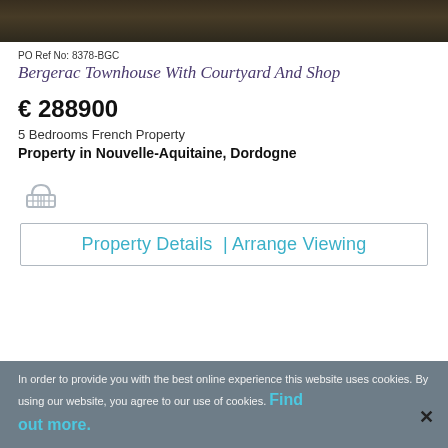[Figure (photo): Dark photograph of a townhouse courtyard or shop exterior]
PO Ref No: 8378-BGC
Bergerac Townhouse With Courtyard And Shop
€ 288900
5 Bedrooms French Property
Property in Nouvelle-Aquitaine,  Dordogne
[Figure (illustration): Shopping basket / add to favourites icon (grey outline)]
Property Details  | Arrange Viewing
In order to provide you with the best online experience this website uses cookies. By using our website, you agree to our use of cookies. Find out more.